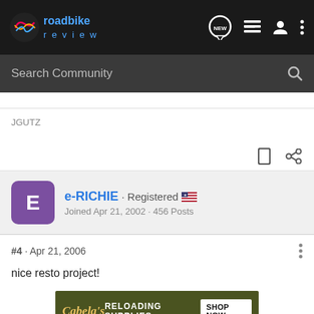roadbike review
Search Community
JGUTZ
e-RICHIE · Registered
Joined Apr 21, 2002 · 456 Posts
#4 · Apr 21, 2006
nice resto project!
[Figure (infographic): Cabela's advertisement: dark olive green banner with Cabela's logo in yellow italic script, text RELOADING SUPPLIES in white uppercase, and SHOP NOW button in white box]